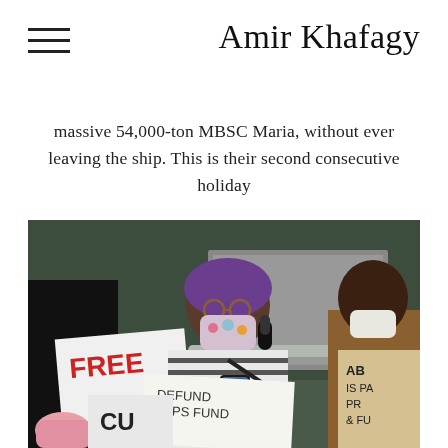Amir Khafagy
massive 54,000-ton MBSC Maria, without ever leaving the ship. This is their second consecutive holiday
[Figure (photo): A woman with purple head wrap and floral face mask holds a microphone and phone at a protest. She holds a sign reading 'DEFUND CAPS FUND'. To the left is a sign reading 'FREE' and 'CU'. To the right is another protester in a brown jacket holding a cardboard sign reading 'AB IS PA PR & FU'.]